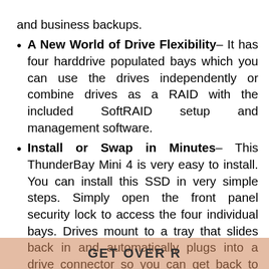and business backups.
A New World of Drive Flexibility– It has four harddrive populated bays which you can use the drives independently or combine drives as a RAID with the included SoftRAID setup and management software.
Install or Swap in Minutes– This ThunderBay Mini 4 is very easy to install. You can install this SSD in very simple steps. Simply open the front panel security lock to access the four individual bays. Drives mount to a tray that slides back in and automatically plugs into a drive connector so you can get back to work in minutes.
SoftRAID Highlights– Drive certification checks that you drives are safe to store